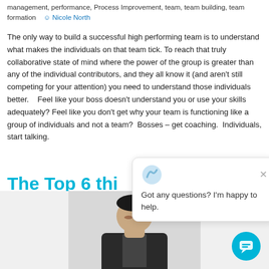management, performance, Process Improvement, team, team building, team formation   Nicole North
The only way to build a successful high performing team is to understand what makes the individuals on that team tick. To reach that truly collaborative state of mind where the power of the group is greater than any of the individual contributors, and they all know it (and aren't still competing for your attention) you need to understand those individuals better.    Feel like your boss doesn't understand you or use your skills adequately? Feel like you don't get why your team is functioning like a group of individuals and not a team?  Bosses – get coaching.  Individuals, start talking.
The Top 6 thi… wants to kno…
[Figure (screenshot): Chat popup with logo and message: Got any questions? I'm happy to help.]
[Figure (photo): Photo of a man in a suit looking down, visible from shoulders up, cropped at bottom of page.]